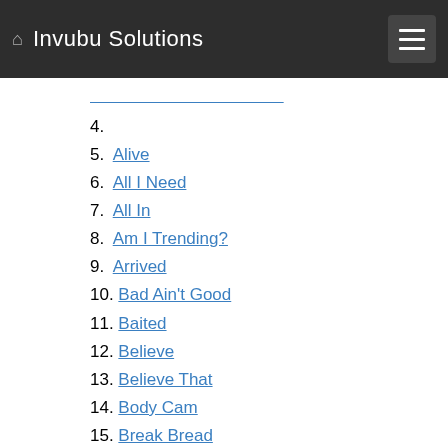Invubu Solutions
4. [truncated link]
5. Alive
6. All I Need
7. All In
8. Am I Trending?
9. Arrived
10. Bad Ain't Good
11. Baited
12. Believe
13. Believe That
14. Body Cam
15. Break Bread
16. Break The Building
17. Call Him
18. Captured Me
19. Caught In The Lights
20. Christ Alone
21. Clear Sight Christmas
22. Contcut [truncated]